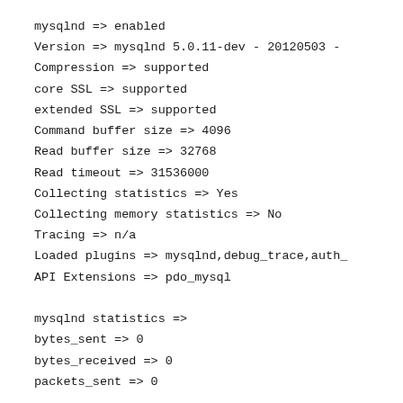mysqlnd => enabled
Version => mysqlnd 5.0.11-dev - 20120503 -
Compression => supported
core SSL => supported
extended SSL => supported
Command buffer size => 4096
Read buffer size => 32768
Read timeout => 31536000
Collecting statistics => Yes
Collecting memory statistics => No
Tracing => n/a
Loaded plugins => mysqlnd,debug_trace,auth_
API Extensions => pdo_mysql
mysqlnd statistics =>
bytes_sent => 0
bytes_received => 0
packets_sent => 0